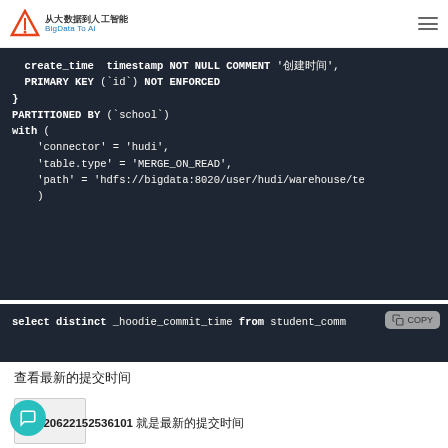从大数据到人工智能 BigData To AI
[Figure (screenshot): SQL code block on dark background showing create_time timestamp NOT NULL COMMENT '创建时间', PRIMARY KEY (`id`) NOT ENFORCED, } PARTITIONED BY (`school`) with ( 'connector' = 'hudi', 'table.type' = 'MERGE_ON_READ', 'path' = 'hdfs://bigdata:8020/user/hudi/warehouse/te )]
[Figure (screenshot): SQL code block on dark background showing: select distinct _hoodie_commit_time from student_comm with a COPY button]
查看最新的提交时间
20220622152536101 就是最新的提交时间